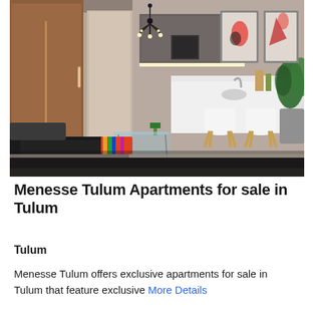[Figure (photo): Interior render of a modern apartment living and dining area with wood-paneled wardrobe, chandelier, white kitchen island, modern chairs, glass coffee table, dark sofa, and tropical plant decor]
Menesse Tulum Apartments for sale in Tulum
Tulum
Menesse Tulum offers exclusive apartments for sale in Tulum that feature exclusive More Details